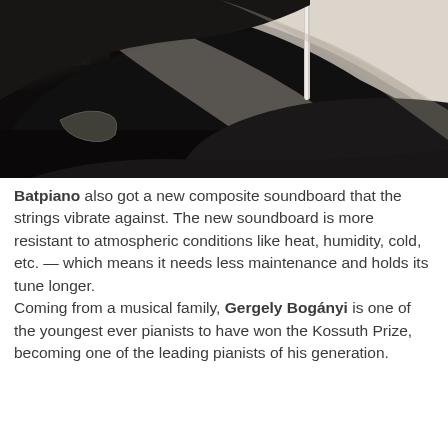[Figure (photo): Close-up photograph of a grand piano's black lacquered body and lid, showing the shiny reflective curves and lid prop, very dark with dramatic light highlights on the polished surfaces.]
Batpiano also got a new composite soundboard that the strings vibrate against. The new soundboard is more resistant to atmospheric conditions like heat, humidity, cold, etc. — which means it needs less maintenance and holds its tune longer. Coming from a musical family, Gergely Bogányi is one of the youngest ever pianists to have won the Kossuth Prize, becoming one of the leading pianists of his generation.